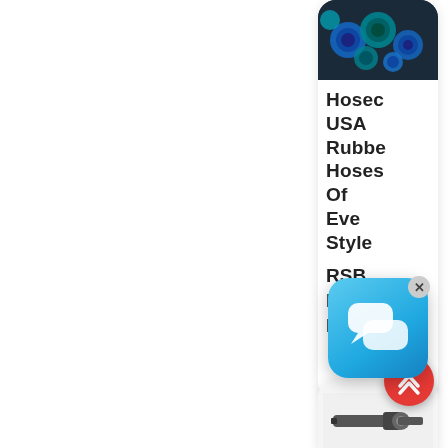[Figure (screenshot): Website UI screenshot showing a sidebar product card with rubber hose image and product text, a chat widget overlay, a scroll-to-top button, and a second card with a hose fitting image at the bottom right]
Hosec USA Rubbe Hoses Of Eve Style
RSB BREWEI HOSE R